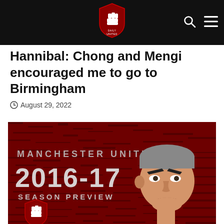Daily United - navigation header with logo, search icon, and menu icon
Hannibal: Chong and Mengi encouraged me to go to Birmingham
August 29, 2022
[Figure (illustration): Manchester United 2016-17 Season Preview graphic with dark red textured background, white and grey text reading 'MANCHESTER UNITED 2016-17 SEASON PREVIEW', and an illustrated caricature of a man with short grey hair and frowning expression in the right portion. A crest/shield icon with a fist is visible in the bottom left.]